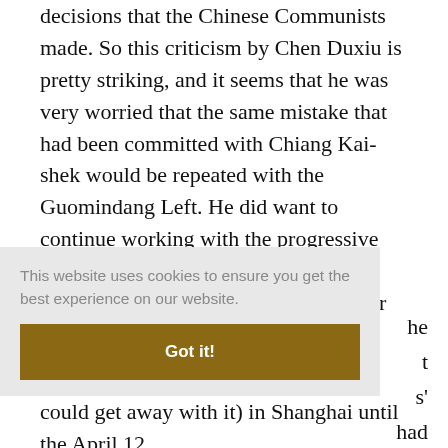decisions that the Chinese Communists made. So this criticism by Chen Duxiu is pretty striking, and it seems that he was very worried that the same mistake that had been committed with Chiang Kai-shek would be repeated with the Guomindang Left. He did want to continue working with the progressive elements of the Guomindang, but as a more independent force with a stronger base of support outside the Guomindang's own structures
This website uses cookies to ensure you get the best experience on our website.
Got it!
could get away with it) in Shanghai until the April 12